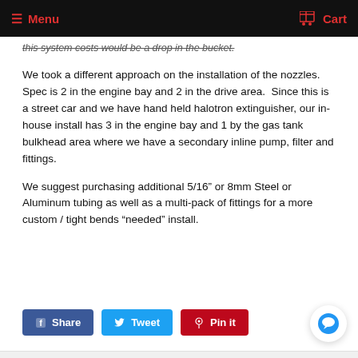Menu  Cart
this system costs would be a drop in the bucket.
We took a different approach on the installation of the nozzles. Spec is 2 in the engine bay and 2 in the drive area. Since this is a street car and we have hand held halotron extinguisher, our in-house install has 3 in the engine bay and 1 by the gas tank bulkhead area where we have a secondary inline pump, filter and fittings.
We suggest purchasing additional 5/16” or 8mm Steel or Aluminum tubing as well as a multi-pack of fittings for a more custom / tight bends “needed” install.
Share  Tweet  Pin it